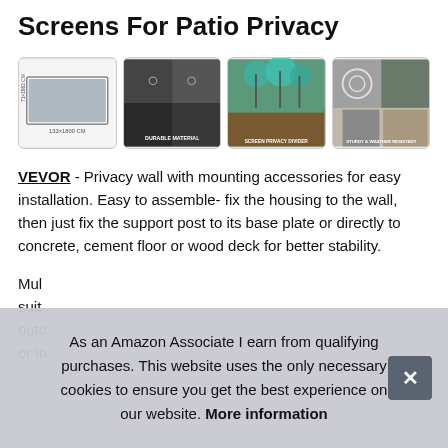Screens For Patio Privacy
[Figure (photo): Four product thumbnail images showing a retractable patio privacy screen: (1) product dimensions view, (2) durable material detail, (3) screen privacy divider outdoor use, (4) sturdy & weather resistant detail]
VEVOR - Privacy wall with mounting accessories for easy installation. Easy to assemble- fix the housing to the wall, then just fix the support post to its base plate or directly to concrete, cement floor or wood deck for better stability.
Mul suit outc or in
As an Amazon Associate I earn from qualifying purchases. This website uses the only necessary cookies to ensure you get the best experience on our website. More information